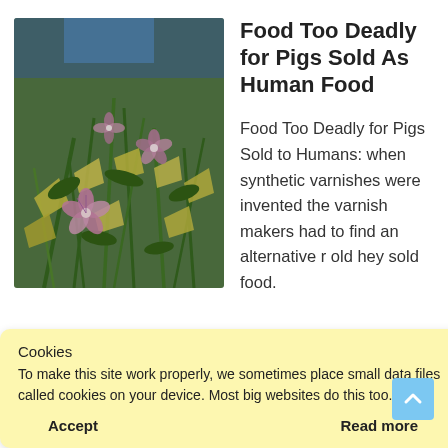[Figure (photo): Close-up photo of a salad or vegetable dish with green stems, yellow/green chopped pieces, and purple/pink flowers on top, with blue background visible at top.]
Food Too Deadly for Pigs Sold As Human Food
Food Too Deadly for Pigs Sold to Humans: when synthetic varnishes were invented the varnish makers had to find an alternative r old hey sold food.
Cookies
To make this site work properly, we sometimes place small data files called cookies on your device. Most big websites do this too.
Accept
Read more